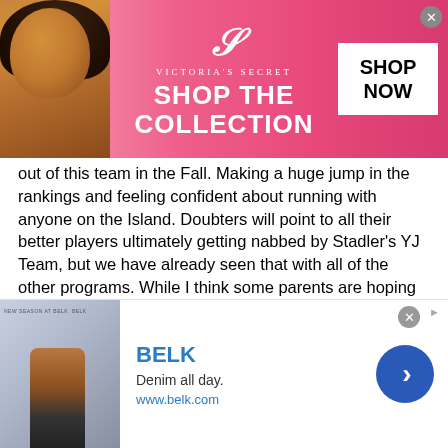[Figure (other): Victoria's Secret advertisement banner with model photo, VS logo, 'SHOP THE COLLECTION' text, and 'SHOP NOW' button on pink background]
out of this team in the Fall. Making a huge jump in the rankings and feeling confident about running with anyone on the Island. Doubters will point to all their better players ultimately getting nabbed by Stadler's YJ Team, but we have already seen that with all of the other programs. While I think some parents are hoping they can run with YJ Stadler, it is going to be a lot more fun watching what they can do against FLG, Top Guns, & Liberty Black. It sets up for some battles to start the Club Season at the Spring Queen of the Island.
Cons: Turnover has been a real issue with this team, but something easily solved with a strong Spring-Summer season. You will always have to hear about "your older sister" in YJA, but for those who are strong enough to block that out, you are getting a ton of playing time in all the same tournaments that Carol Rose
[Figure (other): Belk advertisement with model photo, 'BELK' logo in blue, 'Denim all day.' tagline, 'www.belk.com' URL, and blue circular arrow button]